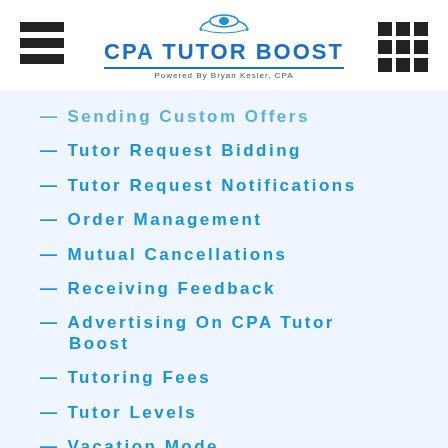CPA TUTOR BOOST — Powered By Bryan Kesler, CPA
— Sending Custom Offers
— Tutor Request Bidding
— Tutor Request Notifications
— Order Management
— Mutual Cancellations
— Receiving Feedback
— Advertising On CPA Tutor Boost
— Tutoring Fees
— Tutor Levels
— Vacation Mode
— Withdrawing Your Earnings
— Download Your Invoices
— Disputes Resolution
— Tutor Chargeback Protections